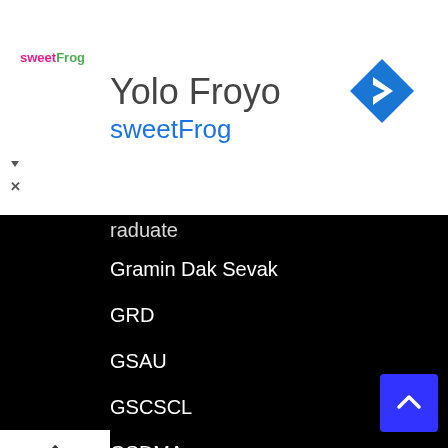[Figure (screenshot): Advertisement banner for sweetFrog / Yolo Froyo with logo, title, subtitle, and navigation icon]
...raduate
Gramin Dak Sevak
GRD
GSAU
GSCSCL
GSDMA
GSEB
GSEB | Gujarat Secondary and Higher Secondary Education Board
GSECL
GSERC
GSET
GSFC